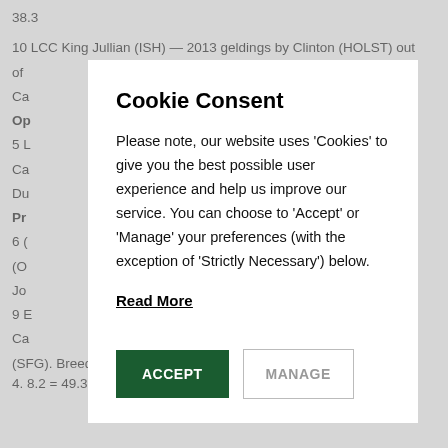38.3
10 LCC King Jullian (ISH) — 2013 geldings by Clinton (HOLST) out of Ca
Op
5 L of Ca Du
Pr
6 ( (O Jo .4
9 E Ca n (SFG). Breeder: catherine Curran. Rider: Olivia Dutton (USA) 36.1, 4. 8.2 = 49.3
Cookie Consent
Please note, our website uses 'Cookies' to give you the best possible user experience and help us improve our service. You can choose to 'Accept' or 'Manage' your preferences (with the exception of 'Strictly Necessary') below.
Read More